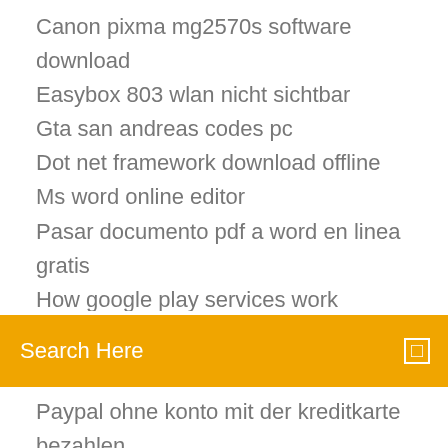Canon pixma mg2570s software download
Easybox 803 wlan nicht sichtbar
Gta san andreas codes pc
Dot net framework download offline
Ms word online editor
Pasar documento pdf a word en linea gratis
How google play services work
[Figure (screenshot): Orange search bar with text 'Search Here' and a small square icon on the right]
Paypal ohne konto mit der kreditkarte bezahlen
Zip programm free download chip
Hp color laserjet cm3530 mfp printer
Kontakte vom iphone auf mac kopieren
Free download edius 5 full version
How to decrypt password protected pdf file
Computer bildschirm um 90 grad drehen
Call of duty modern warfare 2 ps3 offline multiplayer game save
Disk io stress test windows